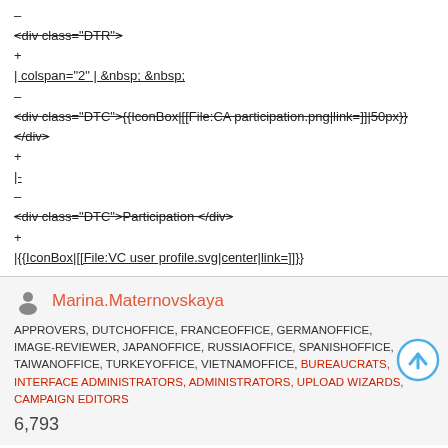–
<div class="DTR">
+
| colspan="2" | &nbsp; &nbsp;
–
<div class="DTC">{{IconBox|[[File:CA participation.png|link=]]|50px}} </div>
+
|-
–
<div class="DTC">Participation </div>
+
|{{IconBox|[[File:VC user profile.svg|center|link=]]}}
Marina.Maternovskaya
APPROVERS, DUTCHOFFICE, FRANCEOFFICE, GERMANOFFICE, IMAGE-REVIEWER, JAPANOFFICE, RUSSIAOFFICE, SPANISHOFFICE, TAIWANOFFICE, TURKEYOFFICE, VIETNAMOFFICE, BUREAUCRATS, INTERFACE ADMINISTRATORS, ADMINISTRATORS, UPLOAD WIZARDS, CAMPAIGN EDITORS
6,793